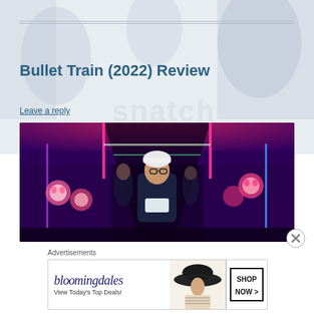Bullet Train (2022) Review
Leave a reply
[Figure (photo): Scene from Bullet Train (2022): a man in a dark coat and white hat walks down the aisle of a brightly lit train with pink and blue neon lighting, carrying a bag.]
Advertisements
[Figure (other): Bloomingdale's advertisement banner: 'bloomingdales / View Today's Top Deals!' with a woman in a black hat and a 'SHOP NOW >' button.]